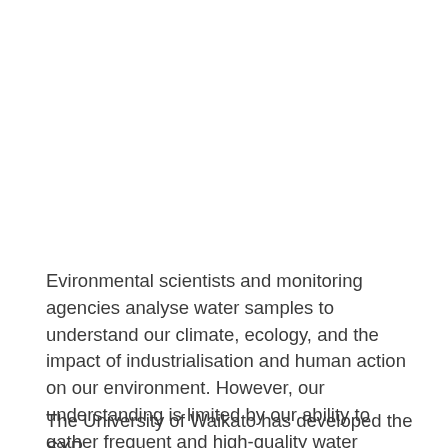Evironmental scientists and monitoring agencies analyse water samples to understand our climate, ecology, and the impact of industrialisation and human action on our environment. However, our understanding is limited by our ability to gather frequent and high-quality water samples, which are costly and time-consuming to collect.
The University of Waikato has developed the SYP